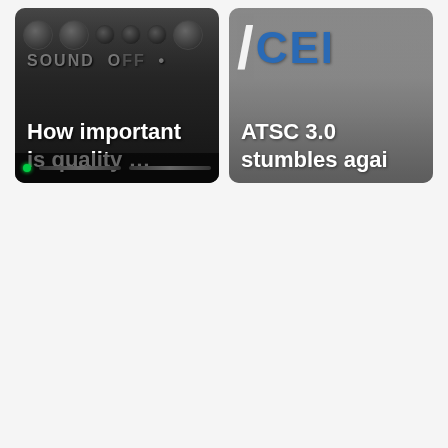[Figure (screenshot): Card thumbnail with dark audio equipment background showing knobs and controls, with white bold text overlay reading 'How important is quality ...']
[Figure (screenshot): Card thumbnail with grey/silver background showing a diagonal slash and blue CEI logo text, with white bold text overlay reading 'ATSC 3.0 stumbles agai']